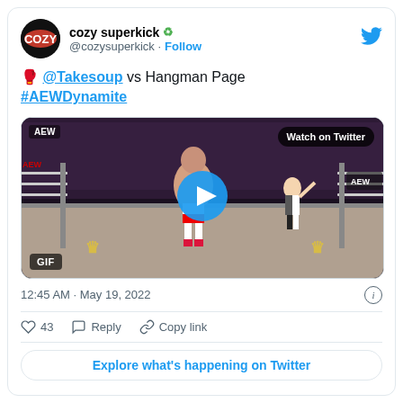cozy superkick ♻ @cozysuperkick · Follow
🥊 @Takesoup vs Hangman Page #AEWDynamite
[Figure (screenshot): AEW wrestling GIF thumbnail with play button and 'Watch on Twitter' badge]
12:45 AM · May 19, 2022
43  Reply  Copy link
Explore what's happening on Twitter